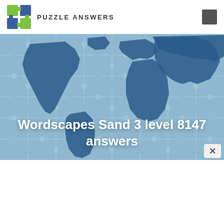PUZZLE ANSWERS
[Figure (illustration): World map jigsaw puzzle image with blue tones, puzzle pieces visible across the continents]
Wordscapes Sand 3 level 8147 answers